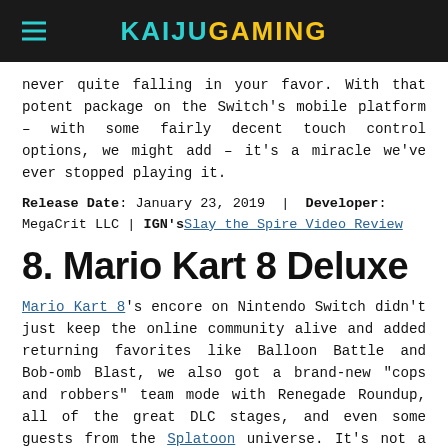KAIJUGAMING
never quite falling in your favor. With that potent package on the Switch’s mobile platform – with some fairly decent touch control options, we might add – it’s a miracle we’ve ever stopped playing it.
Release Date: January 23, 2019  |  Developer: MegaCrit LLC  |  IGN’sSlay the Spire Video Review
8. Mario Kart 8 Deluxe
Mario Kart 8’s encore on Nintendo Switch didn’t just keep the online community alive and added returning favorites like Balloon Battle and Bob-omb Blast, we also got a brand-new “cops and robbers” team mode with Renegade Roundup, all of the great DLC stages, and even some guests from the Splatoon universe. It’s not a new game, but one so good, it deserved to reach a bigger